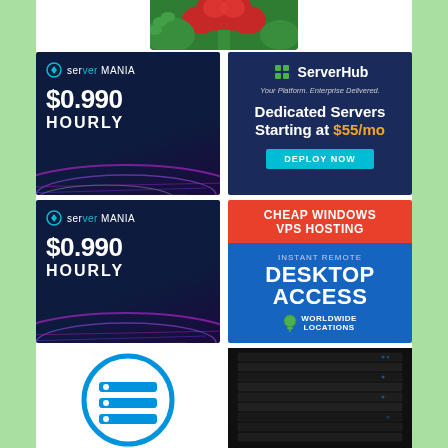[Figure (photo): Partial view of a frog or green creature with a red rose flower, cropped at top of page]
[Figure (infographic): ServerMania ad banner: dark navy/purple gradient background with glowing light streaks, logo top-left, price $0.990, text HOURLY]
[Figure (infographic): ServerHub ad banner: dark blue background, ServerHub logo with cube icon, tagline 'Your Platform. Enterprise Delivered.', text 'Dedicated Servers Starting at $55/mo', cyan DEPLOY NOW button]
[Figure (infographic): ServerMania ad banner (duplicate): dark navy/purple gradient background with glowing light streaks, logo top-left, price $0.990, text HOURLY]
[Figure (infographic): VPS Hosting ad banner: red top section 'CHEAP WINDOWS VPS HOSTING', blue bottom section 'INSTANT REMOTE DESKTOP ACCESS' with map pin icon and 'WORLDWIDE LOCATIONS']
[Figure (logo): Blue circle logo with horizontal bars/lines icon in the center, resembling a database or server list icon]
[Figure (photo): Dark server rack photo with rows of servers visible in dim lighting]